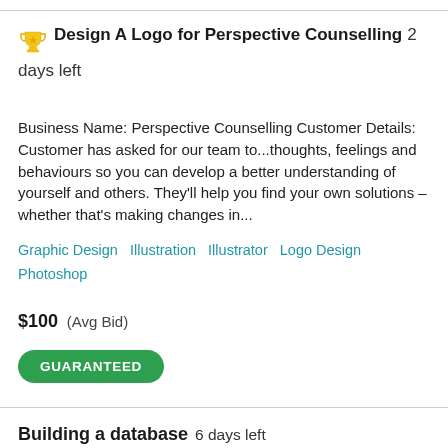Design A Logo for Perspective Counselling  2 days left
Business Name: Perspective Counselling Customer Details: Customer has asked for our team to...thoughts, feelings and behaviours so you can develop a better understanding of yourself and others. They'll help you find your own solutions – whether that's making changes in...
Graphic Design   Illustration   Illustrator   Logo Design   Photoshop
$100  (Avg Bid)
GUARANTEED
Building a database  6 days left
Hy, I'm looking for someone to help me create a data base in Excel where to be imported some details from a web...